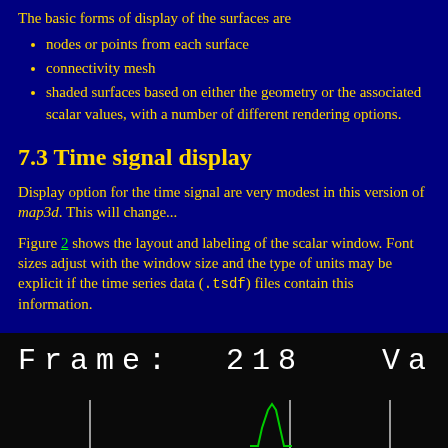The basic forms of display of the surfaces are
nodes or points from each surface
connectivity mesh
shaded surfaces based on either the geometry or the associated scalar values, with a number of different rendering options.
7.3 Time signal display
Display option for the time signal are very modest in this version of map3d. This will change...
Figure 2 shows the layout and labeling of the scalar window. Font sizes adjust with the window size and the type of units may be explicit if the time series data (.tsdf) files contain this information.
[Figure (screenshot): Screenshot of scalar window showing 'Frame: 218 Va' in white monospace text on black background, with a green signal spike visible at the bottom]